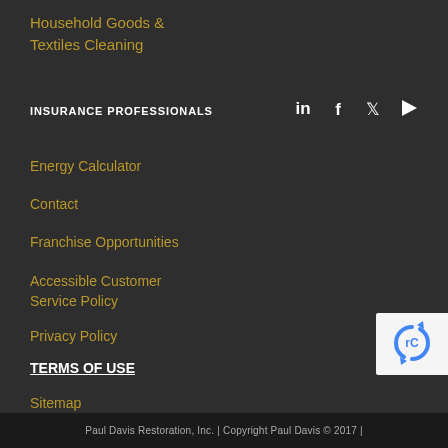Household Goods & Textiles Cleaning
INSURANCE PROFESSIONALS
[Figure (other): Social media icons: LinkedIn, Facebook, Twitter, YouTube]
Energy Calculator
Contact
Franchise Opportunities
Accessible Customer Service Policy
Privacy Policy
TERMS OF USE
Sitemap
[Figure (other): reCAPTCHA badge with recycling arrow logo in blue]
Paul Davis Restoration, Inc. | Copyright Paul Davis © 2017 |